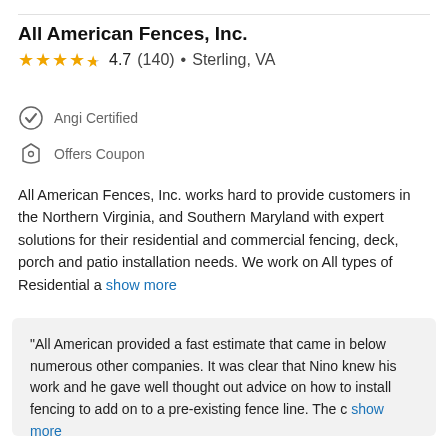All American Fences, Inc.
4.7 (140) • Sterling, VA
Angi Certified
Offers Coupon
All American Fences, Inc. works hard to provide customers in the Northern Virginia, and Southern Maryland with expert solutions for their residential and commercial fencing, deck, porch and patio installation needs. We work on All types of Residential a show more
"All American provided a fast estimate that came in below numerous other companies. It was clear that Nino knew his work and he gave well thought out advice on how to install fencing to add on to a pre-existing fence line. The c show more
Amy N. on August 2019